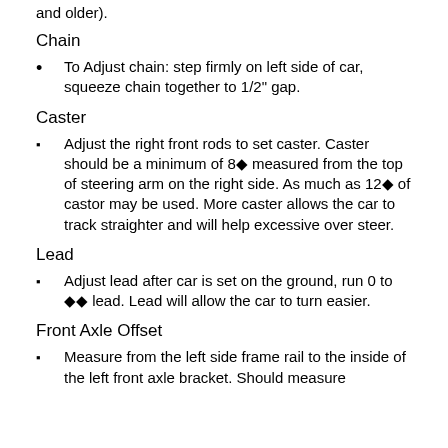and older).
Chain
To Adjust chain: step firmly on left side of car, squeeze chain together to 1/2" gap.
Caster
Adjust the right front rods to set caster. Caster should be a minimum of 8� measured from the top of steering arm on the right side. As much as 12� of castor may be used. More caster allows the car to track straighter and will help excessive over steer.
Lead
Adjust lead after car is set on the ground, run 0 to �� lead. Lead will allow the car to turn easier.
Front Axle Offset
Measure from the left side frame rail to the inside of the left front axle bracket. Should measure